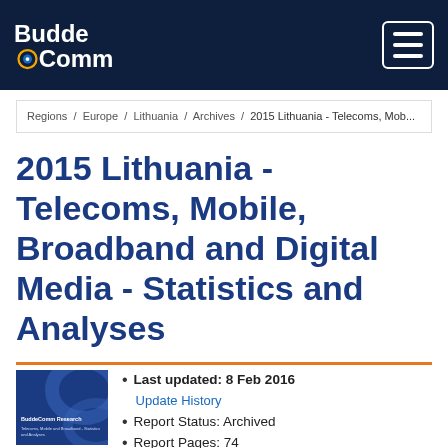BuddeComm
Regions / Europe / Lithuania / Archives / 2015 Lithuania - Telecoms, Mob...
2015 Lithuania - Telecoms, Mobile, Broadband and Digital Media - Statistics and Analyses
Last updated: 8 Feb 2016
Update History
Report Status: Archived
Report Pages: 74